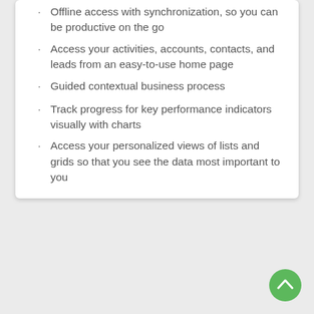Offline access with synchronization, so you can be productive on the go
Access your activities, accounts, contacts, and leads from an easy-to-use home page
Guided contextual business process
Track progress for key performance indicators visually with charts
Access your personalized views of lists and grids so that you see the data most important to you